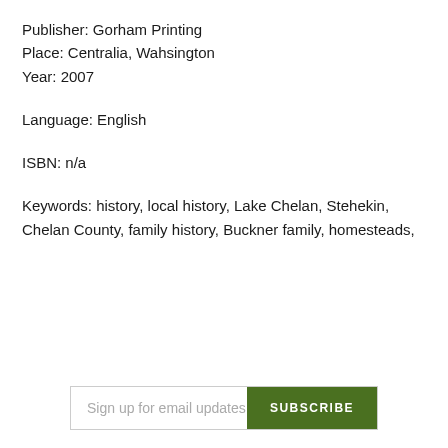Publisher: Gorham Printing
Place: Centralia, Wahsington
Year: 2007
Language: English
ISBN: n/a
Keywords: history, local history, Lake Chelan, Stehekin, Chelan County, family history, Buckner family, homesteads,
Sign up for email updates